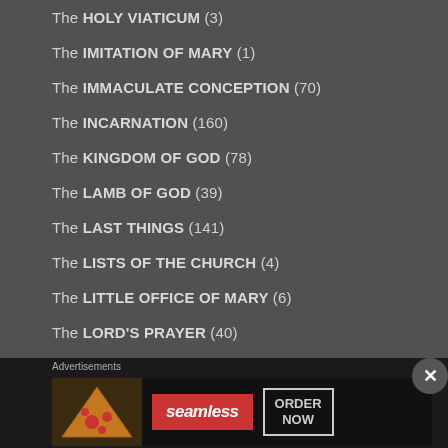The HOLY VIATICUM (3)
The IMITATION of MARY (1)
The IMMACULATE CONCEPTION (70)
The INCARNATION (160)
The KINGDOM of GOD (78)
The LAMB of GOD (39)
The LAST THINGS (141)
The LISTS of the CHURCH (4)
The LITTLE OFFICE of MARY (6)
The LORD'S PRAYER (40)
The MOST HOLY REDEEMER (45)
Advertisements
[Figure (other): Seamless food delivery advertisement with pizza image, Seamless logo, and ORDER NOW button]